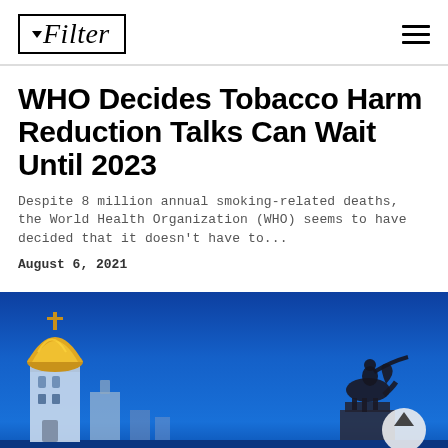Filter
WHO Decides Tobacco Harm Reduction Talks Can Wait Until 2023
Despite 8 million annual smoking-related deaths, the World Health Organization (WHO) seems to have decided that it doesn't have to...
August 6, 2021
[Figure (photo): Night photo of a Ukrainian city (likely Kyiv) showing an illuminated church bell tower with a golden dome on the left and an equestrian statue silhouette on the right, against a deep blue night sky.]